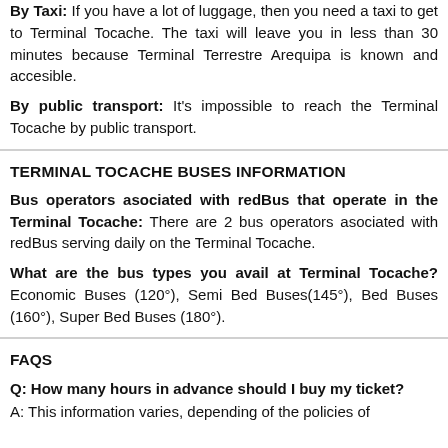By Taxi: If you have a lot of luggage, then you need a taxi to get to Terminal Tocache. The taxi will leave you in less than 30 minutes because Terminal Terrestre Arequipa is known and accesible.
By public transport: It's impossible to reach the Terminal Tocache by public transport.
TERMINAL TOCACHE BUSES INFORMATION
Bus operators asociated with redBus that operate in the Terminal Tocache: There are 2 bus operators asociated with redBus serving daily on the Terminal Tocache.
What are the bus types you avail at Terminal Tocache? Economic Buses (120°), Semi Bed Buses(145°), Bed Buses (160°), Super Bed Buses (180°).
FAQS
Q: How many hours in advance should I buy my ticket?
A: This information varies, depending of the policies of